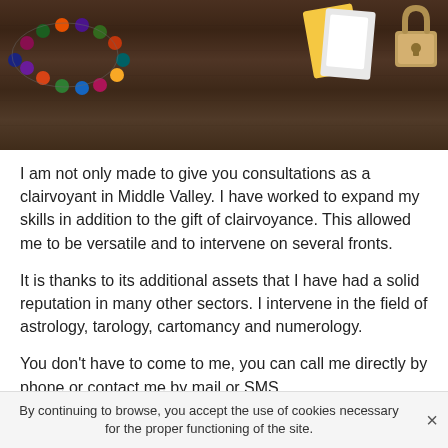[Figure (photo): Photo of mystic/clairvoyant items on a dark wooden table: colorful beaded bracelet, playing cards/tarot cards, and a small metal lock/padlock.]
I am not only made to give you consultations as a clairvoyant in Middle Valley. I have worked to expand my skills in addition to the gift of clairvoyance. This allowed me to be versatile and to intervene on several fronts.
It is thanks to its additional assets that I have had a solid reputation in many other sectors. I intervene in the field of astrology, tarology, cartomancy and numerology.
You don't have to come to me, you can call me directly by phone or contact me by mail or SMS.
I also propose services of clairvoyance in Middle Valley by phone
By continuing to browse, you accept the use of cookies necessary for the proper functioning of the site.